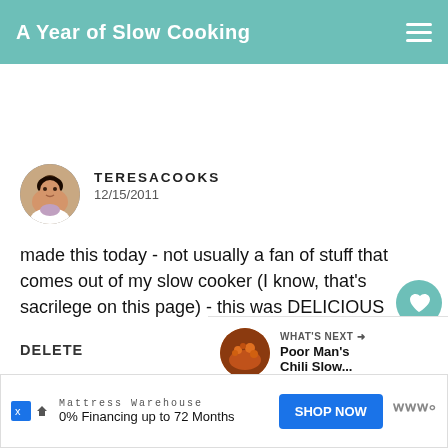A Year of Slow Cooking
TERESACOOKS
12/15/2011
made this today - not usually a fan of stuff that comes out of my slow cooker (I know, that's sacrilege on this page) - this was DELICIOUS
DELETE
WHAT'S NEXT → Poor Man's Chili Slow...
Mattress Warehouse
0% Financing up to 72 Months  SHOP NOW